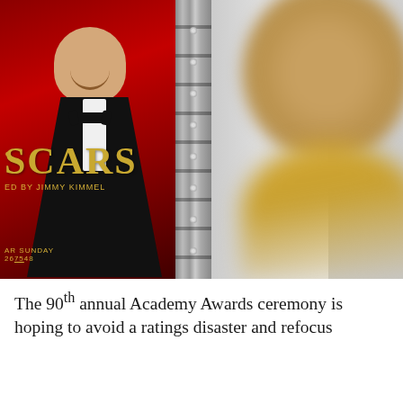[Figure (photo): A person in a blurred foreground (wearing yellow/gold outfit) looks toward an Oscars promotional banner featuring a man in a tuxedo (Jimmy Kimmel) next to a metal truss structure. The banner reads 'OSCARS' in gold letters with 'HOSTED BY JIMMY KIMMEL' below.]
The 90th annual Academy Awards ceremony is hoping to avoid a ratings disaster and refocus the spotlight back on the movies after last year's debacle.